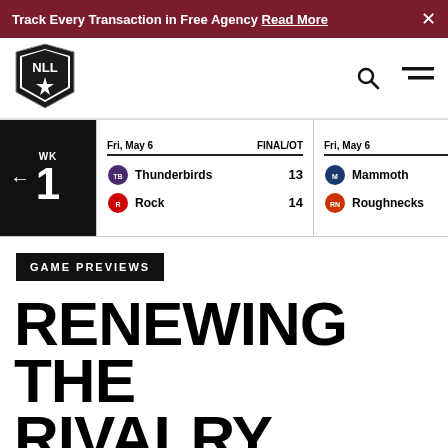Track Every Transaction in Free Agency Read More
[Figure (logo): NLL (National Lacrosse League) logo — black shield with white star/NLL text]
| Date | Status | Team | Score |
| --- | --- | --- | --- |
| Fri, May 6 | FINAL/OT | Thunderbirds | 13 |
| Fri, May 6 | FINAL/OT | Rock | 14 |
| Fri, May 6 | FINAL | Mammoth | 16 |
| Fri, May 6 | FINAL | Roughnecks | 12 |
GAME PREVIEWS
RENEWING THE RIVALRY